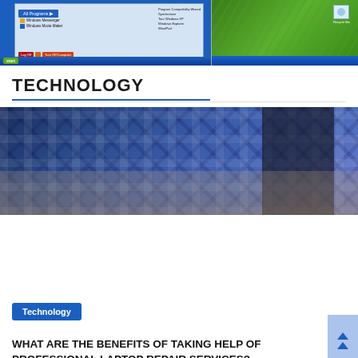[Figure (screenshot): Windows XP Start menu screenshot showing All Programs, Windows Messenger, Windows Movie Maker, Log Off, Turn Off Computer options on left; green grass desktop with Recycle Bin icon on right]
TECHNOLOGY
[Figure (photo): Close-up photo of person wearing blue plaid/flannel shirt, hands visible, appearing to type on a laptop]
Technology
WHAT ARE THE BENEFITS OF TAKING HELP OF PROFESSIONAL LAPTOP REPAIR SERVICES?